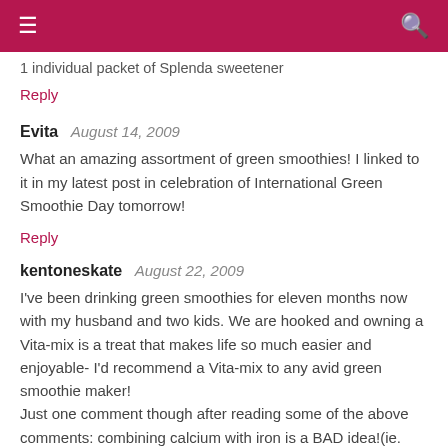≡  🔍
1 individual packet of Splenda sweetener
Reply
Evita  August 14, 2009
What an amazing assortment of green smoothies! I linked to it in my latest post in celebration of International Green Smoothie Day tomorrow!
Reply
kentoneskate  August 22, 2009
I've been drinking green smoothies for eleven months now with my husband and two kids. We are hooked and owning a Vita-mix is a treat that makes life so much easier and enjoyable- I'd recommend a Vita-mix to any avid green smoothie maker!
Just one comment though after reading some of the above comments: combining calcium with iron is a BAD idea!(ie. putting milk or yogurt into our